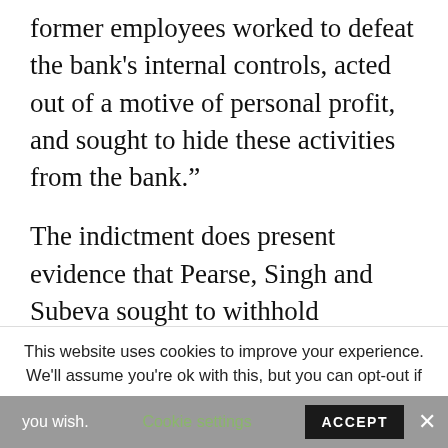former employees worked to defeat the bank’s internal controls, acted out of a motive of personal profit, and sought to hide these activities from the bank.”
The indictment does present evidence that Pearse, Singh and Subeva sought to withhold information from Credit Suisse while working for them. However, this is a failing on Credit Suisse’s part that its compliance procedures did not prevent this from happening.
This website uses cookies to improve your experience. We’ll assume you’re ok with this, but you can opt-out if you wish.
Cookie settings   ACCEPT   Share This   ×